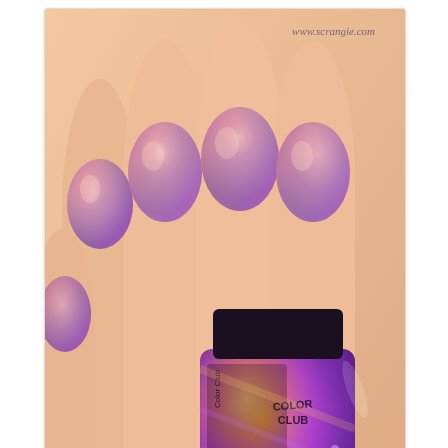[Figure (photo): Close-up photo of hand with holographic pink/purple/rainbow nail polish (Color Club Miss Bliss), with the nail polish bottle visible in the foreground showing holographic multi-color shimmer. Watermark reads www.scrangie.com.]
Color Club Miss Bliss.
[Figure (photo): Partial photo of hand with holographic light blue/teal nail polish. Watermark reads www.scrangie.com. Image is cropped at bottom of page.]